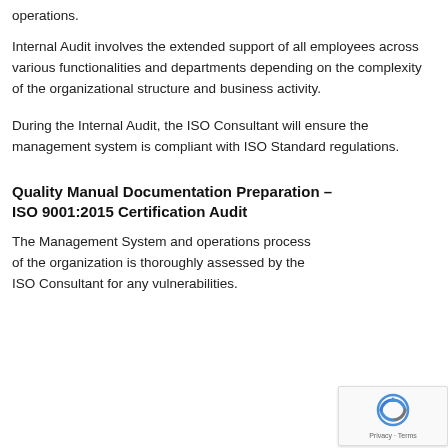operations.
Internal Audit involves the extended support of all employees across various functionalities and departments depending on the complexity of the organizational structure and business activity.
During the Internal Audit, the ISO Consultant will ensure the management system is compliant with ISO Standard regulations.
Quality Manual Documentation Preparation – ISO 9001:2015 Certification Audit
The Management System and operations process of the organization is thoroughly assessed by the ISO Consultant for any vulnerabilities.